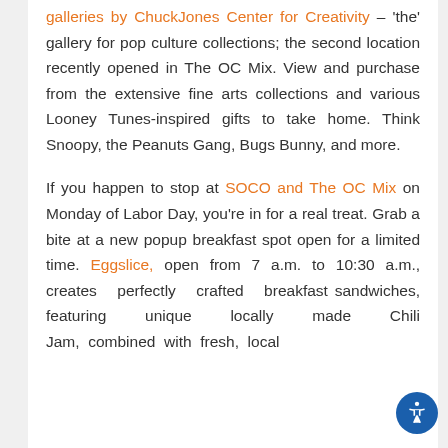galleries by ChuckJones Center for Creativity – 'the' gallery for pop culture collections; the second location recently opened in The OC Mix. View and purchase from the extensive fine arts collections and various Looney Tunes-inspired gifts to take home. Think Snoopy, the Peanuts Gang, Bugs Bunny, and more.
If you happen to stop at SOCO and The OC Mix on Monday of Labor Day, you're in for a real treat. Grab a bite at a new popup breakfast spot open for a limited time. Eggslice, open from 7 a.m. to 10:30 a.m., creates perfectly crafted breakfast sandwiches, featuring unique locally made Chili Jam, combined with fresh, local